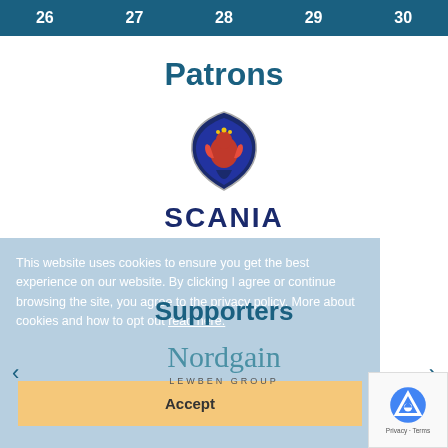26   27   28   29   30
Patrons
[Figure (logo): Scania griffin badge logo — dark blue shield shape with red griffin, and SCANIA wordmark below]
Supporters
[Figure (logo): Nordgain Lewben Group logo in teal/blue serif text]
This website uses cookies to ensure you get the best experience on our website. By clicking I agree or continue browsing the site, you agree to the privacy policy. More about cookies and how to opt out read here.
Accept